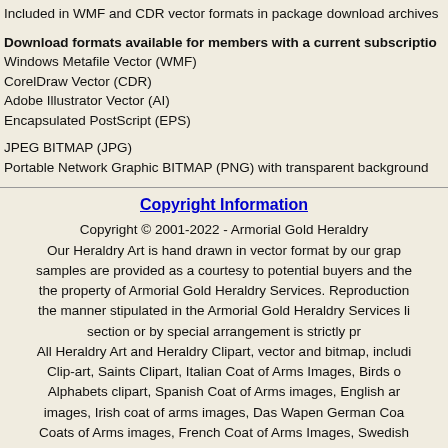Included in WMF and CDR vector formats in package download archives
Download formats available for members with a current subscription
Windows Metafile Vector (WMF)
CorelDraw Vector (CDR)
Adobe Illustrator Vector (AI)
Encapsulated PostScript (EPS)
JPEG BITMAP (JPG)
Portable Network Graphic BITMAP (PNG) with transparent background
Copyright Information
Copyright © 2001-2022 - Armorial Gold Heraldry
Our Heraldry Art is hand drawn in vector format by our graphic artists. The samples are provided as a courtesy to potential buyers and the images remain the property of Armorial Gold Heraldry Services. Reproduction of our images in the manner stipulated in the Armorial Gold Heraldry Services license, members section or by special arrangement is strictly prohibited.
All Heraldry Art and Heraldry Clipart, vector and bitmap, including Crests Clip-art, Saints Clipart, Italian Coat of Arms Images, Birds of Prey images, Alphabets clipart, Spanish Coat of Arms images, English and Irish coat of arms images, Irish coat of arms images, Das Wapen German Coat of Arms Coats of Arms images, French Coat of Arms Images, Swedish Coat of Arms images, Polish Coat of Arms Clipart,